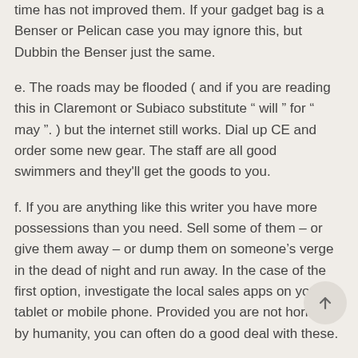time has not improved them. If your gadget bag is a Benser or Pelican case you may ignore this, but Dubbin the Benser just the same.
e. The roads may be flooded ( and if you are reading this in Claremont or Subiaco substitute “ will ” for “ may ”. ) but the internet still works. Dial up CE and order some new gear. The staff are all good swimmers and they'll get the goods to you.
f. If you are anything like this writer you have more possessions than you need. Sell some of them – or give them away – or dump them on someone’s verge in the dead of night and run away. In the case of the first option, investigate the local sales apps on your tablet or mobile phone. Provided you are not horrified by humanity, you can often do a good deal with these.
[Figure (other): Scroll-to-top button: circular grey button with upward arrow icon]